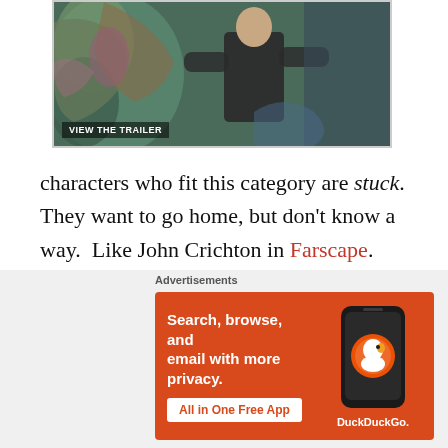[Figure (photo): Movie scene showing a person in a dark outfit interacting with a large alien or creature figure, with colorful fantastical background. A 'VIEW THE TRAILER' badge is overlaid at the bottom left.]
characters who fit this category are stuck.  They want to go home, but don't know a way.  Like John Crichton in Farscape.  John is an astronaut and test pilot.  In the first episode of the series, he's flying his module, Farscape One, and he is pulled into a suddenly appearing wormhole.  When he exits the other side,
Advertisements
[Figure (screenshot): DuckDuckGo advertisement banner with orange background. Text reads 'Search, browse, and email with more privacy. All in One Free App' with DuckDuckGo logo and phone mockup on the right.]